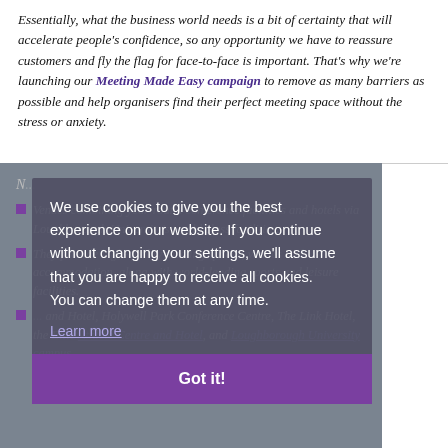Essentially, what the business world needs is a bit of certainty that will accelerate people's confidence, so any opportunity we have to reassure customers and fly the flag for face-to-face is important. That's why we're launching our Meeting Made Easy campaign to remove as many barriers as possible and help organisers find their perfect meeting space without the stress or anxiety.
We use cookies to give you the best experience on our website. If you continue without changing your settings, we'll assume that you are happy to receive all cookies. You can change them at any time.
Learn more
Got it!
Venues combining year-round conference facilities and hotels via Loughborough University's world class facilities.
They provide high-quality meeting spaces, venues and accommodation, along with world-leading sports and leisure facilities.
and Hotel, Holywell Park Conference Centre, The Link Hotel, the Elite Athlete Centre and Hotel, and Loughborough University campus.